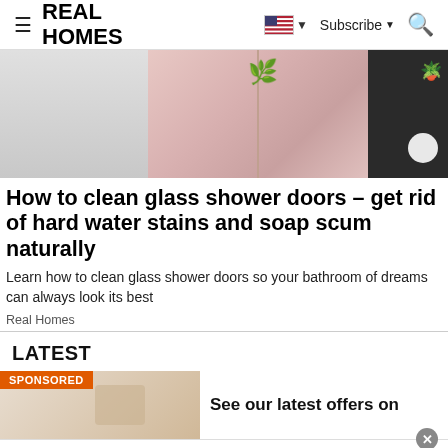REAL HOMES
[Figure (photo): Bathroom scene with white cabinetry drawers on the left, pink patterned wardrobe panels in the center with gold trim, and dark background with plant on the right]
How to clean glass shower doors – get rid of hard water stains and soap scum naturally
Learn how to clean glass shower doors so your bathroom of dreams can always look its best
Real Homes
LATEST
SPONSORED
See our latest offers on
[Figure (photo): Advertisement showing white egg-shaped objects with link: Recommend: This Diabetes Treatment Will, subtext: n/a]